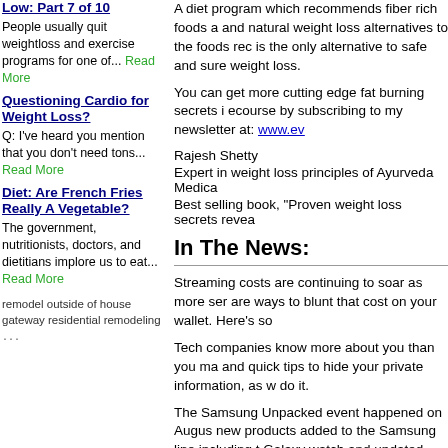Low: Part 7 of 10
People usually quit weightloss and exercise programs for one of... Read More
Questioning Cardio for Weight Loss?
Q: I've heard you mention that you don't need tons... Read More
Diet: Are French Fries Really A Vegetable?
The government, nutritionists, doctors, and dietitians implore us to eat... Read More
remodel outside of house gateway residential remodeling ...
A diet program which recommends fiber rich foods and natural weight loss alternatives to the foods rec is the only alternative to safe and sure weight loss.
You can get more cutting edge fat burning secrets in ecourse by subscribing to my newsletter at: www.ev
Rajesh Shetty
Expert in weight loss principles of Ayurveda Medica Best selling book, "Proven weight loss secrets revea
In The News:
Streaming costs are continuing to soar as more ser are ways to blunt that cost on your wallet. Here's so
Tech companies know more about you than you ma and quick tips to hide your private information, as w do it.
The Samsung Unpacked event happened on Augus new products added to the Samsung line including t Galaxy watch and updated buds.
iPhones are infamous for their longevity issues. Her extend the lifetime of your purchase. It's not hard ar
A new investment company wants to help bring toge and mental health treatment, which is expected to b industry by 2027.